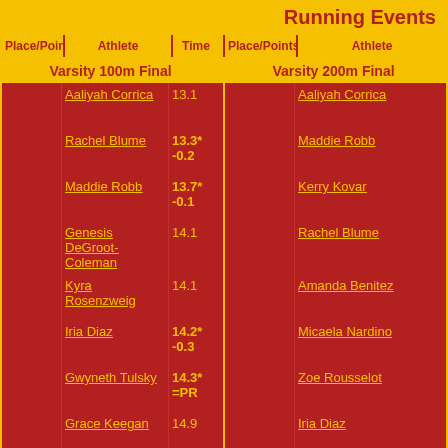Running Events
| Place/Points | Athlete | Time | Place/Points | Athlete |
| --- | --- | --- | --- | --- |
| Varsity 100m Final |  |  | Varsity 200m Final |  |
|  | Aaliyah Corrica | 13.1 |  | Aaliyah Corrica |
|  | Rachel Blume | 13.3* -0.2 |  | Maddie Robb |
|  | Maddie Robb | 13.7* -0.1 |  | Kerry Kovar |
|  | Genesis DeGroot-Coleman | 14.1 |  | Rachel Blume |
|  | Kyra Rosenzweig | 14.1 |  | Amanda Benitez |
|  | Iria Diaz | 14.2* -0.3 |  | Micaela Nardino |
|  | Gwyneth Tulsky | 14.3* =PR |  | Zoe Rousselot |
|  | Grace Keegan | 14.9 |  | Iria Diaz |
|  | Freyja Peeters | 15.1 |  | Kyra Rosenzweig |
|  |  |  |  | Gwyneth Tulsky |